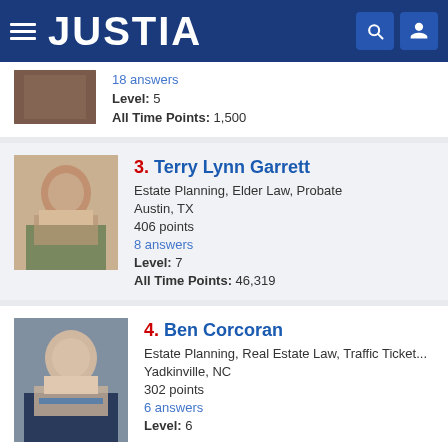JUSTIA
18 answers
Level: 5
All Time Points: 1,500
3. Terry Lynn Garrett
Estate Planning, Elder Law, Probate
Austin, TX
406 points
8 answers
Level: 7
All Time Points: 46,319
4. Ben Corcoran
Estate Planning, Real Estate Law, Traffic Ticket...
Yadkinville, NC
302 points
6 answers
Level: 6